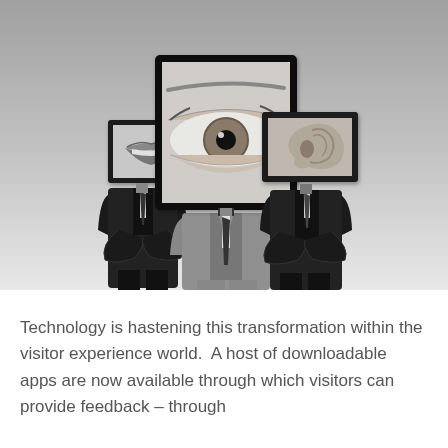[Figure (photo): Black and white surrealist composite photograph of three suited figures standing. The left figure has a framed close-up of lips/mouth as a head. The center figure has a large monitor/TV screen showing a giant close-up of a human eye as a head, wearing a grey suit with a tie. The right figure has a framed close-up of an ear as a head, wearing a dark suit with arms crossed. All set against a grey gradient background.]
Technology is hastening this transformation within the visitor experience world.  A host of downloadable apps are now available through which visitors can provide feedback – through